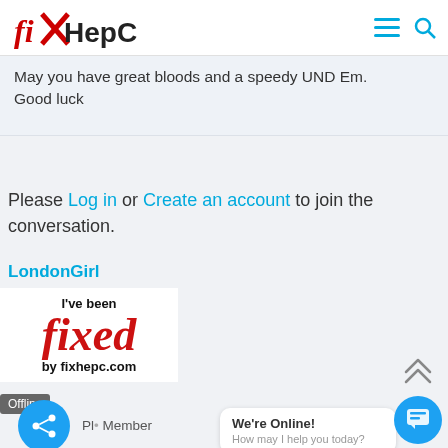[Figure (logo): fixHepC logo with red X through the 'x', styled text logo in black and red]
May you have great bloods and a speedy UND Em. Good luck
Please Log in or Create an account to join the conversation.
LondonGirl
[Figure (illustration): Badge image reading 'I've been fixed by fixhepc.com' in bold black and red italic text]
Offline
Platinum Member
We're Online! How may I help you today?